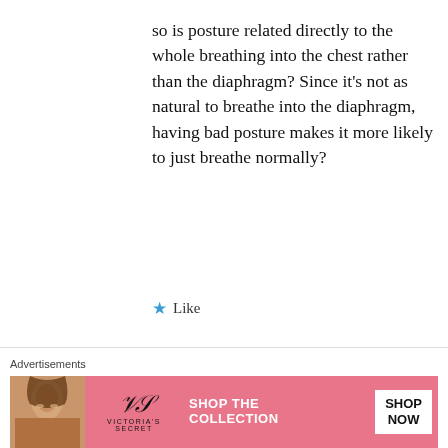so is posture related directly to the whole breathing into the chest rather than the diaphragm? Since it's not as natural to breathe into the diaphragm, having bad posture makes it more likely to just breathe normally?
★ Like
January 4, 2017 at 10:11 am
[Figure (photo): Avatar photo of a young man in a dark sweater with stars]
Oh I know that hair is a mess. Well
Advertisements
[Figure (photo): Victoria's Secret advertisement banner with woman's photo, VS logo, 'SHOP THE COLLECTION' text, and 'SHOP NOW' button on pink background]